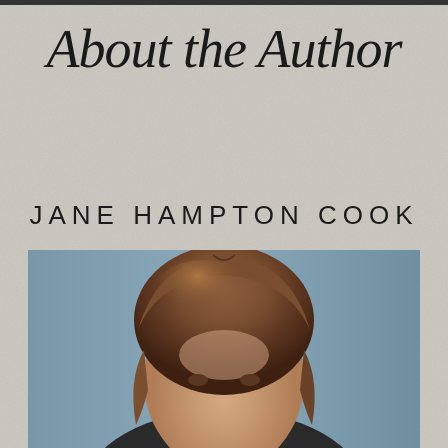About the Author
JANE HAMPTON COOK
[Figure (photo): Headshot portrait of Jane Hampton Cook, a woman with medium-length auburn/brown hair, against a blue-grey background]